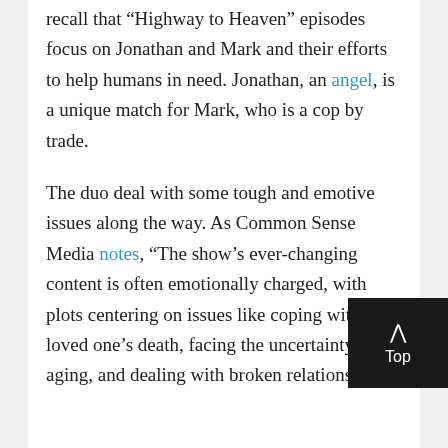recall that “Highway to Heaven” episodes focus on Jonathan and Mark and their efforts to help humans in need. Jonathan, an angel, is a unique match for Mark, who is a cop by trade.
The duo deal with some tough and emotive issues along the way. As Common Sense Media notes, “The show’s ever-changing content is often emotionally charged, with plots centering on issues like coping with a loved one’s death, facing the uncertainty of aging, and dealing with broken relationships.”